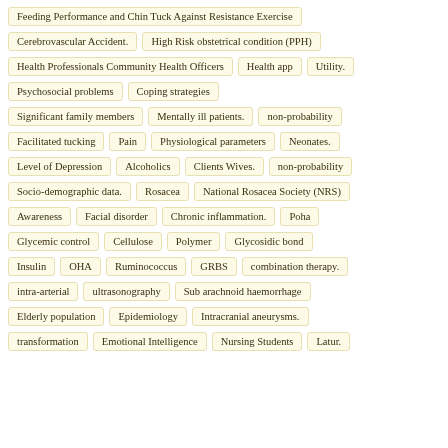Feeding Performance and Chin Tuck Against Resistance Exercise
Cerebrovascular Accident.
High Risk obstetrical condition (PPH)
Health Professionals Community Health Officers
Health app
Utility.
Psychosocial problems
Coping strategies
Significant family members
Mentally ill patients.
non-probability
Facilitated tucking
Pain
Physiological parameters
Neonates.
Level of Depression
Alcoholics
Clients Wives.
non-probability
Socio-demographic data.
Rosacea
National Rosacea Society (NRS)
Awareness
Facial disorder
Chronic inflammation.
Poha
Glycemic control
Cellulose
Polymer
Glycosidic bond
Insulin
OHA
Ruminococcus
GRBS
combination therapy.
intra-arterial
ultrasonography
Sub arachnoid haemorrhage
Elderly population
Epidemiology
Intracranial aneurysms.
transformation
Emotional Intelligence
Nursing Students
Latur.